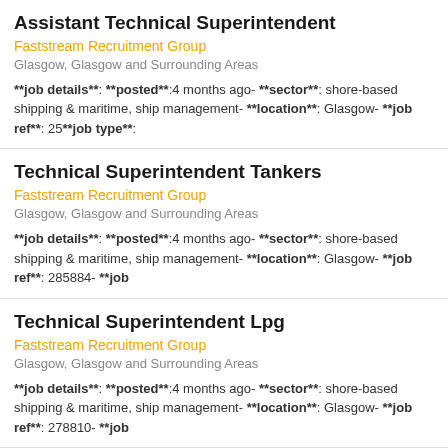Assistant Technical Superintendent
Faststream Recruitment Group
Glasgow, Glasgow and Surrounding Areas
**job details**: **posted**:4 months ago- **sector**: shore-based shipping & maritime, ship management- **location**: Glasgow- **job ref**: 25**job type**:
Technical Superintendent Tankers
Faststream Recruitment Group
Glasgow, Glasgow and Surrounding Areas
**job details**: **posted**:4 months ago- **sector**: shore-based shipping & maritime, ship management- **location**: Glasgow- **job ref**: 285884- **job
Technical Superintendent Lpg
Faststream Recruitment Group
Glasgow, Glasgow and Surrounding Areas
**job details**: **posted**:4 months ago- **sector**: shore-based shipping & maritime, ship management- **location**: Glasgow- **job ref**: 278810- **job
Technical Superintendent Lng
Faststream Recruitment Group
Glasgow, Glasgow and Surrounding Areas